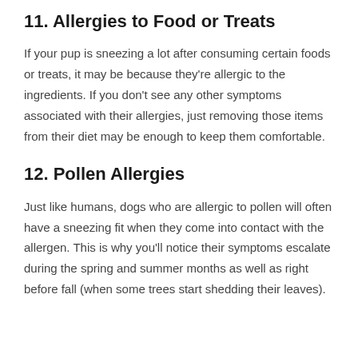11. Allergies to Food or Treats
If your pup is sneezing a lot after consuming certain foods or treats, it may be because they're allergic to the ingredients. If you don't see any other symptoms associated with their allergies, just removing those items from their diet may be enough to keep them comfortable.
12. Pollen Allergies
Just like humans, dogs who are allergic to pollen will often have a sneezing fit when they come into contact with the allergen. This is why you'll notice their symptoms escalate during the spring and summer months as well as right before fall (when some trees start shedding their leaves).